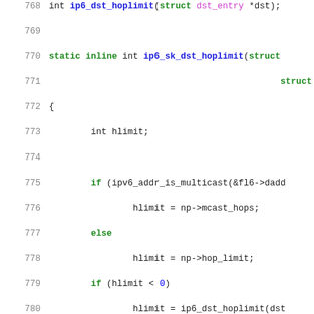[Figure (screenshot): Source code listing in a code editor showing C kernel networking functions ip6_dst_hoplimit, ip6_sk_dst_hoplimit, and iph_to_flow_copy_v6addrs with syntax highlighting (green bold for keywords, blue bold for function names, magenta for types, grey for comments). Line numbers 768-794 shown on the left.]